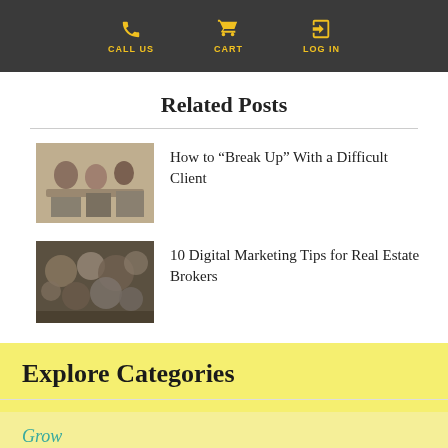CALL US  CART  LOG IN
Related Posts
How to “Break Up” With a Difficult Client
10 Digital Marketing Tips for Real Estate Brokers
Explore Categories
Grow